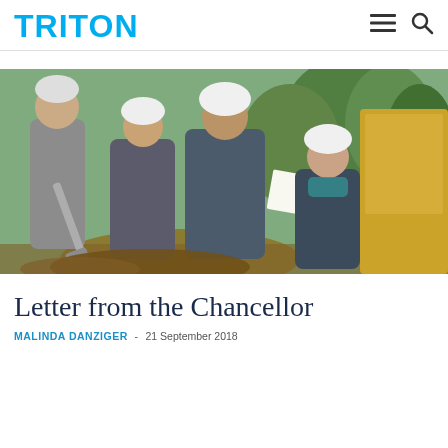TRITON
[Figure (photo): Groundbreaking ceremony photo showing people in hard hats and suits holding shovels outdoors near construction equipment and trees]
Letter from the Chancellor
MALINDA DANZIGER  -  21 September 2018